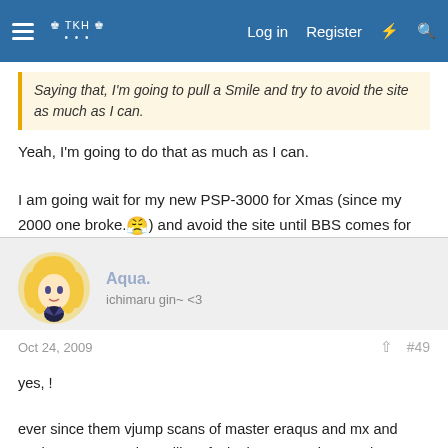TKN [logo] | Log in | Register
Saying that, I'm going to pull a Smile and try to avoid the site as much as I can.
Yeah, I'm going to do that as much as I can.

I am going wait for my new PSP-3000 for Xmas (since my 2000 one broke.😔) and avoid the site until BBS comes for the U.S.
Aqua.
ichimaru gin~ <3
Oct 24, 2009   #49
yes, !

ever since them vjump scans of master eraqus and mx and vanitas came out, i was like, "fuck. they're starting to release shit bout the mysteries, i think im going to stop looking at spoilers/news/whatever"